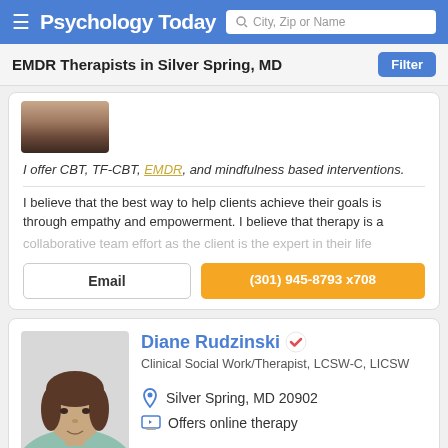Psychology Today — City, Zip or Name search header
EMDR Therapists in Silver Spring, MD
I offer CBT, TF-CBT, EMDR, and mindfulness based interventions.
I believe that the best way to help clients achieve their goals is through empathy and empowerment. I believe that therapy is a collaborative team effort as the client is the expert in their life
Email
(301) 945-8793 x708
Diane Rudzinski — Clinical Social Work/Therapist, LCSW-C, LICSW
Silver Spring, MD 20902
Offers online therapy